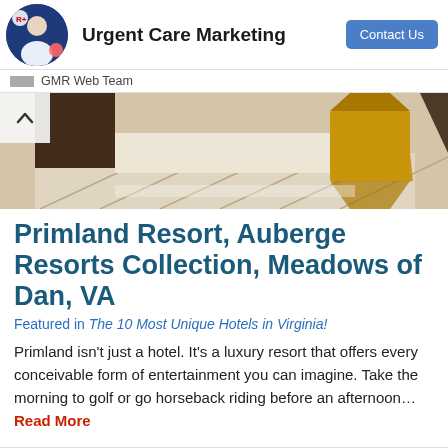Urgent Care Marketing
GMR Web Team
[Figure (photo): Hotel lobby interior with marble floors featuring geometric inlaid patterns, a golden accent chair, and dark wood architectural elements]
Primland Resort, Auberge Resorts Collection, Meadows of Dan, VA
Featured in The 10 Most Unique Hotels in Virginia!
Primland isn't just a hotel. It's a luxury resort that offers every conceivable form of entertainment you can imagine. Take the morning to golf or go horseback riding before an afternoon… Read More